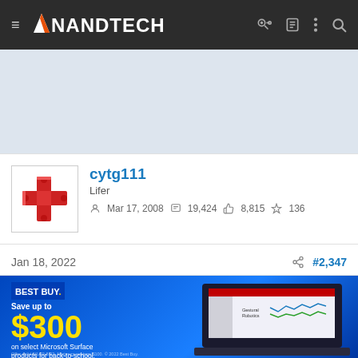≡ ANANDTECH
[Figure (screenshot): Advertisement placeholder banner (light blue/gray area)]
[Figure (photo): User avatar: red cross/plus shaped 3D figure on white background]
cytg111
Lifer
Mar 17, 2008  19,424  8,815  136
Jan 18, 2022  #2,347
[Figure (screenshot): Best Buy advertisement: Save up to $300 on select Microsoft Surface products for back-to-school. Shop Now button. Shows a laptop with Microsoft PowerPoint open to a 'Gestural Robotics' presentation.]